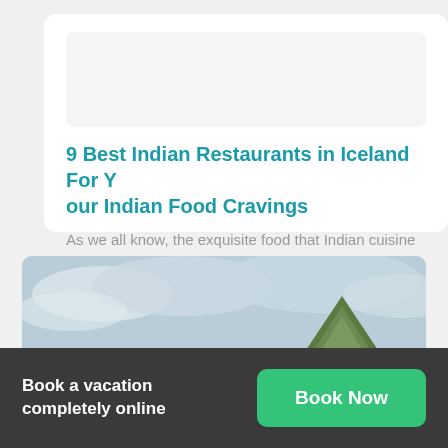9 Best Indian Restaurants in Iceland For Your Indian Food Cravings
As we all know, the exquisite food that Indian cuisine has to offer has made…
[Figure (photo): Landscape photo showing a distinctive conical green mountain (Kirkjufell, Iceland) under a cloudy sky, with a dark vehicle or structure visible at lower left]
Book a vacation completely online
Book Now